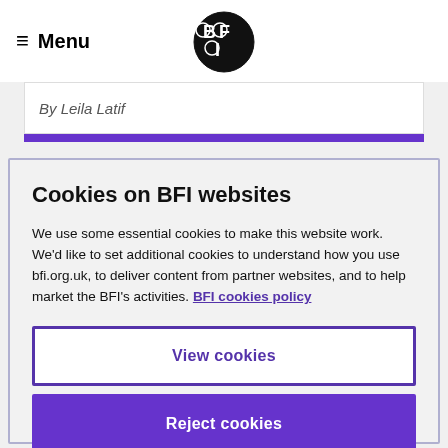≡ Menu  BFI
By Leila Latif
Cookies on BFI websites
We use some essential cookies to make this website work. We'd like to set additional cookies to understand how you use bfi.org.uk, to deliver content from partner websites, and to help market the BFI's activities. BFI cookies policy
View cookies
Reject cookies
Accept cookies